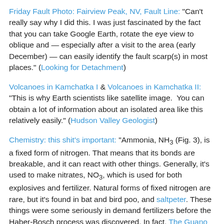Friday Fault Photo: Fairview Peak, NV, Fault Line: "Can't really say why I did this. I was just fascinated by the fact that you can take Google Earth, rotate the eye view to oblique and — especially after a visit to the area (early December) — can easily identify the fault scarp(s) in most places." (Looking for Detachment)
Volcanoes in Kamchatka I & Volcanoes in Kamchatka II: "This is why Earth scientists like satellite image.  You can obtain a lot of information about an isolated area like this relatively easily." (Hudson Valley Geologist)
Chemistry: this shit's important: "Ammonia, NH3 (Fig. 3), is a fixed form of nitrogen. That means that its bonds are breakable, and it can react with other things. Generally, it's used to make nitrates, NO3, which is used for both explosives and fertilizer. Natural forms of fixed nitrogen are rare, but it's found in bat and bird poo, and saltpeter. These things were some seriously in demand fertilizers before the Haber-Bosch process was discovered. In fact, The Guano Islands Act of 1856 was passed so people could claim any